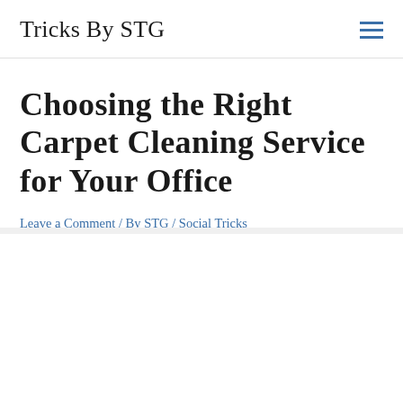Tricks By STG
Choosing the Right Carpet Cleaning Service for Your Office
Leave a Comment / By STG / Social Tricks